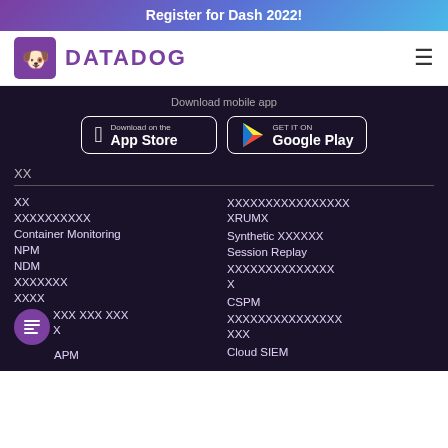Register for Dash 2022!
[Figure (logo): Datadog logo with purple dog icon and DATADOG text]
Download mobile app
[Figure (screenshot): App Store and Google Play download buttons on dark background]
製品
製品
インフラストラクチャー
Container Monitoring
NPM
NDM
サーバーレス
プロセス
ネットワーク モニタリング
APM
ブラウザ向けリアルユーザーモニタリング（RUM）
Synthetic モニタリング
Session Replay
セキュリティプラットフォーム
CSPM
セキュリティシグナル管理
Cloud SIEM